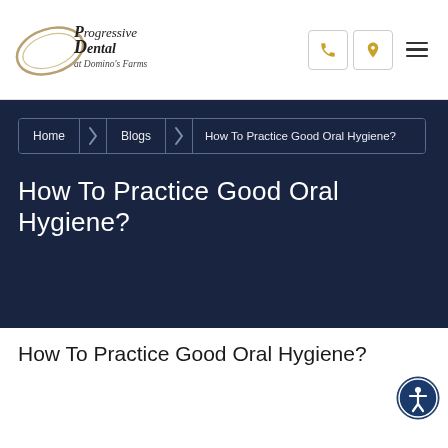[Figure (logo): Progressive Dental at Domino's Farms logo with oval swoosh graphic]
Progressive Dental at Domino's Farms — navigation header with phone, location, and menu icons
Home > Blogs > How To Practice Good Oral Hygiene?
How To Practice Good Oral Hygiene?
How To Practice Good Oral Hygiene?